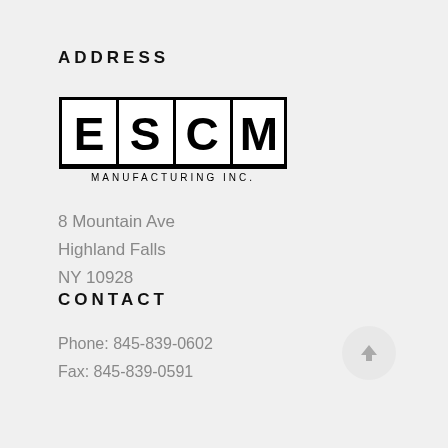ADDRESS
[Figure (logo): ESCM Manufacturing Inc. logo — black bordered rectangle with large letters E, S, C, M each separated by vertical lines, and 'MANUFACTURING INC.' in small caps below]
8 Mountain Ave
Highland Falls
NY 10928
CONTACT
Phone: 845-839-0602
Fax: 845-839-0591